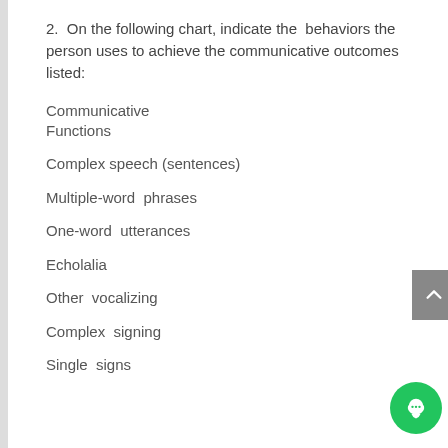2.  On the following chart, indicate the behaviors the person uses to achieve the communicative outcomes listed:
Communicative Functions
Complex speech (sentences)
Multiple-word  phrases
One-word  utterances
Echolalia
Other  vocalizing
Complex  signing
Single  signs